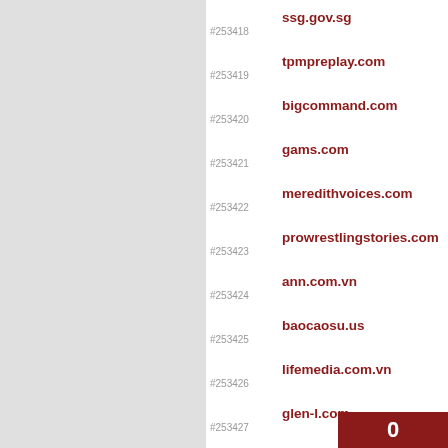#253418 ssg.gov.sg
#253419 tpmpreplay.com
#253420 bigcommand.com
#253421 gams.com
#253422 meredithvoices.com
#253423 prowrestlingstories.com
#253424 ann.com.vn
#253425 baocaosu.us
#253426 lifemedia.com.vn
#253427 glen-l.com
#253428 applestore.pk
#253429 bluebeetle.ae
#253430 eithad.com